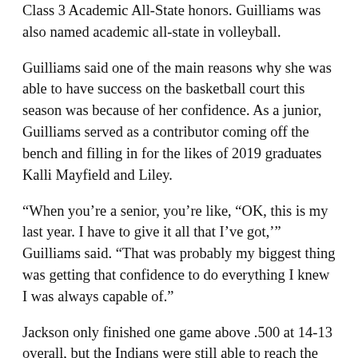Class 3 Academic All-State honors. Guilliams was also named academic all-state in volleyball.
Guilliams said one of the main reasons why she was able to have success on the basketball court this season was because of her confidence. As a junior, Guilliams served as a contributor coming off the bench and filling in for the likes of 2019 graduates Kalli Mayfield and Liley.
“When you’re a senior, you’re like, “OK, this is my last year. I have to give it all that I’ve got,’” Guilliams said. “That was probably my biggest thing was getting that confidence to do everything I knew I was always capable of.”
Jackson only finished one game above .500 at 14-13 overall, but the Indians were still able to reach the district championship game for the 10th season in a row.
Jackson was able to go far in the district championship with